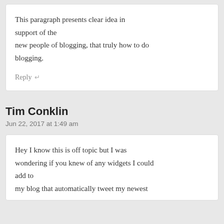This paragraph presents clear idea in support of the new people of blogging, that truly how to do blogging.
Reply ↵
Tim Conklin
Jun 22, 2017 at 1:49 am
Hey I know this is off topic but I was wondering if you knew of any widgets I could add to my blog that automatically tweet my newest